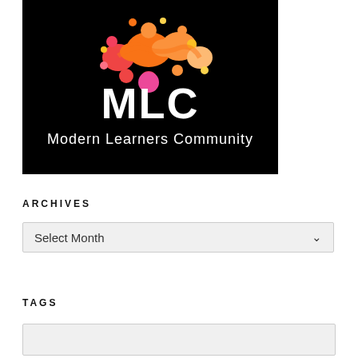[Figure (logo): MLC Modern Learners Community logo — black background with orange/red abstract connected dots graphic above bold white text 'MLC' and white text 'Modern Learners Community']
ARCHIVES
Select Month
TAGS